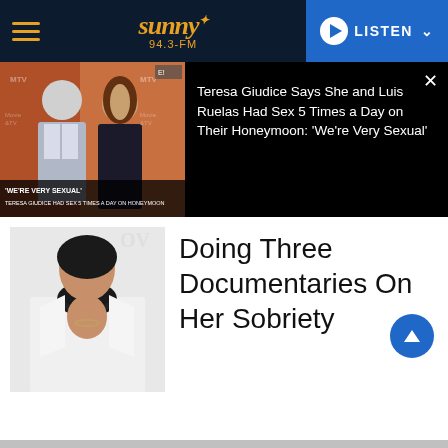sunny 94.3-FM | LISTEN
[Figure (photo): Teresa Giudice and Luis Ruelas at MTV Movie & TV Awards, with overlay text 'WE'RE VERY SEXUAL' and 'TERESA GIUDICE HAD SEX 5 TIMES A DAY ON HONEYMOON']
Teresa Giudice Says She and Luis Ruelas Had Sex 5 Times a Day on Their Honeymoon: 'We're Very Sexual'
[Figure (photo): Woman in white blazer with black ruffled neckline]
Doing Three Documentaries On Her Sobriety